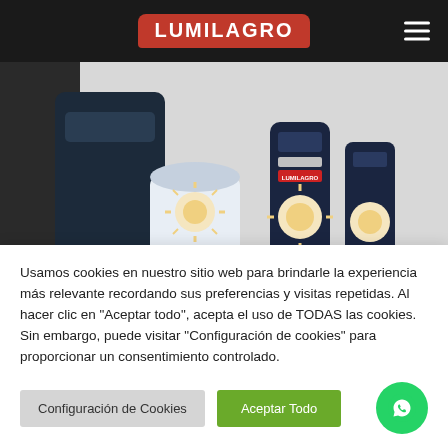[Figure (logo): Lumilagro logo on dark navigation bar with hamburger menu icon]
[Figure (photo): Equipo Matero Bandera Argentina product photo showing mate set with Argentine flag design including thermos, mate cup, and accessories on grey background]
Equipo Matero Bandera Argentina
Usamos cookies en nuestro sitio web para brindarle la experiencia más relevante recordando sus preferencias y visitas repetidas. Al hacer clic en "Aceptar todo", acepta el uso de TODAS las cookies. Sin embargo, puede visitar "Configuración de cookies" para proporcionar un consentimiento controlado.
Configuración de Cookies
Aceptar Todo